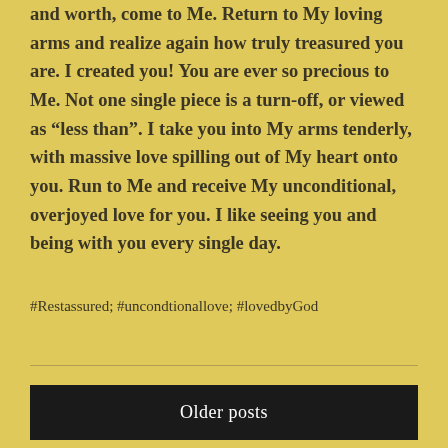and worth, come to Me. Return to My loving arms and realize again how truly treasured you are. I created you! You are ever so precious to Me. Not one single piece is a turn-off, or viewed as “less than”. I take you into My arms tenderly, with massive love spilling out of My heart onto you. Run to Me and receive My unconditional, overjoyed love for you. I like seeing you and being with you every single day.
#Restassured; #uncondtionallove; #lovedbyGod
Older posts